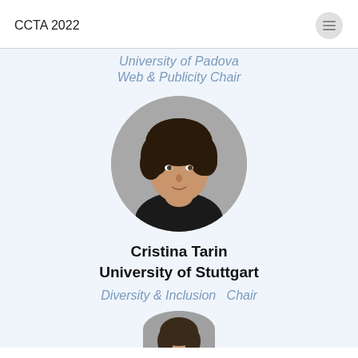CCTA 2022
University of Padova (partial, scrolled)
Web & Publicity Chair
[Figure (photo): Circular portrait photo of Cristina Tarin, a woman with dark hair]
Cristina Tarin
University of Stuttgart
Diversity & Inclusion  Chair
[Figure (photo): Partially visible circular portrait photo at the bottom of the page]